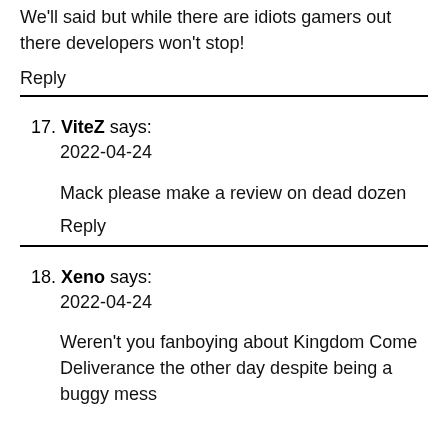We'll said but while there are idiots gamers out there developers won't stop!
Reply
17. ViteZ says:
2022-04-24
Mack please make a review on dead dozen
Reply
18. Xeno says:
2022-04-24
Weren't you fanboying about Kingdom Come Deliverance the other day despite being a buggy mess